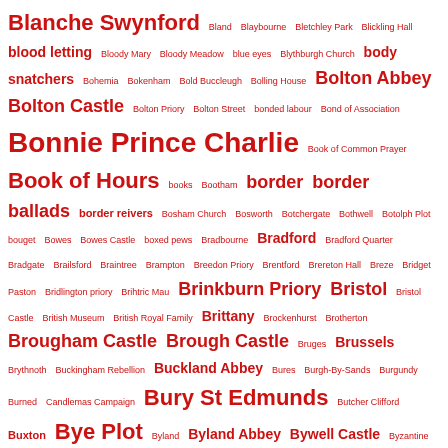Blanche Swynford Bland Blaybourne Bletchley Park Blickling Hall blood letting Bloody Mary Bloody Meadow blue eyes Blythburgh Church body snatchers Bohemia Bokenham Bold Buccleugh Bolling House Bolton Abbey Bolton Castle Bolton Priory Bolton Street bonded labour Bond of Association Bonnie Prince Charlie Book of Common Prayer Book of Hours books Bootham border border ballads border reivers Bosham Church Bosworth Botchergate Bothwell Botolph Plot bouget Bowes Bowes Castle boxed pews Bradbourne Bradford Bradford Quarter Bradgate Brailsford Braintree Brampton Breedon Priory Brentford Brereton Hall Breze Bridget Paston Bridlington priory Brihtric Mau Brinkburn Priory Bristol Bristol Castle British Museum British Royal Family Brittany Brockenhurst Brotherton Brougham Castle Brough Castle Bruges Brussels Brythnoth Buckingham Rebellion Buckland Abbey Bures Burgh-By-Sands Burgundy Burned Candlemas Campaign Bury St Edmunds Butcher Clifford Buxton Bye Plot Byland Byland Abbey Bywell Castle Byzantine Empire cadaver tomb